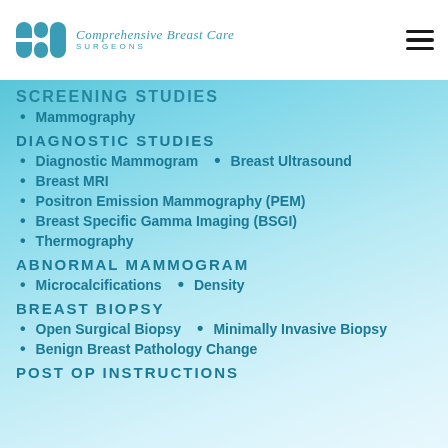Comprehensive Breast Care Surgeons
SCREENING STUDIES
Mammography
DIAGNOSTIC STUDIES
Diagnostic Mammogram
Breast Ultrasound
Breast MRI
Positron Emission Mammography (PEM)
Breast Specific Gamma Imaging (BSGI)
Thermography
ABNORMAL MAMMOGRAM
Microcalcifications
Density
BREAST BIOPSY
Open Surgical Biopsy
Minimally Invasive Biopsy
Benign Breast Pathology Change
POST OP INSTRUCTIONS